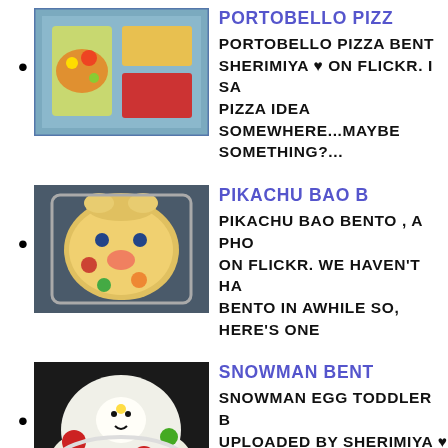PORTOBELLO PIZZA BENTO BY SHERIMIYA ♥ ON FLICKR. I SAW PIZZA IDEA SOMEWHERE...MAYBE SOMETHING?...
PIKACHU BAO BENTO , A PHO ON FLICKR. WE HAVEN'T HA BENTO IN AWHILE SO, HERE'S ONE
SNOWMAN EGG TODDLER BR UPLOADED BY SHERIMIYA ♥ . WEEK OF SNOWMEN BENTO, AS CHALLENGE FO